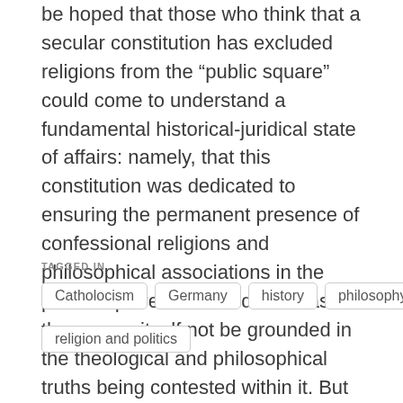be hoped that those who think that a secular constitution has excluded religions from the “public square” could come to understand a fundamental historical-juridical state of affairs: namely, that this constitution was dedicated to ensuring the permanent presence of confessional religions and philosophical associations in the public square. The condition was that the square itself not be grounded in the theological and philosophical truths being contested within it. But such a hope cannot but be vain, for the reasons outlined.
TAGGED IN
Catholocism
Germany
history
philosophy
religion and politics